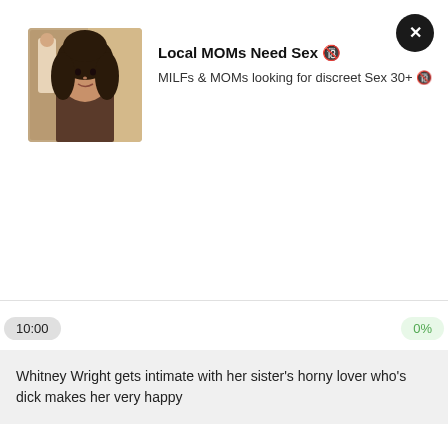[Figure (photo): Profile photo of a woman with dark curly hair taking a selfie in a mirror, with another figure visible in background]
Local MOMs Need Sex 🔞
MILFs & MOMs looking for discreet Sex 30+ 🔞
10:00
0%
Whitney Wright gets intimate with her sister's horny lover who's dick makes her very happy